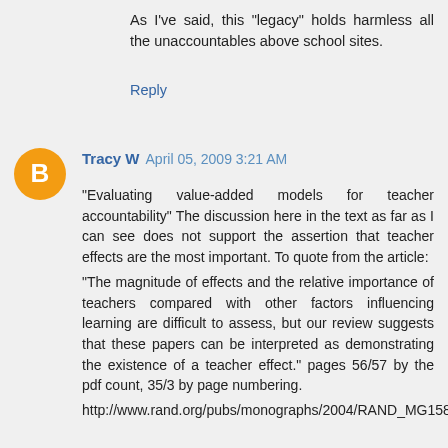As I've said, this "legacy" holds harmless all the unaccountables above school sites.
Reply
[Figure (illustration): Blogger user avatar - orange circle with white letter B]
Tracy W  April 05, 2009 3:21 AM
"Evaluating value-added models for teacher accountability" The discussion here in the text as far as I can see does not support the assertion that teacher effects are the most important. To quote from the article:
"The magnitude of effects and the relative importance of teachers compared with other factors influencing learning are difficult to assess, but our review suggests that these papers can be interpreted as demonstrating the existence of a teacher effect." pages 56/57 by the pdf count, 35/3 by page numbering.
http://www.rand.org/pubs/monographs/2004/RAND_MG158.pdf

Perhaps I have missed something and at some point in this paper they do identify teacher quality as the most